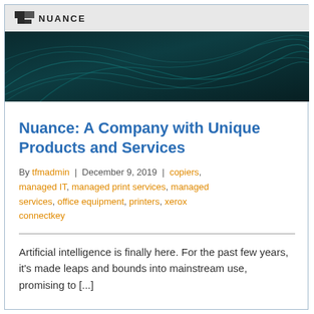NUANCE
[Figure (photo): Dark teal abstract background with flowing light curves, used as hero banner image]
Nuance: A Company with Unique Products and Services
By tfmadmin | December 9, 2019 | copiers, managed IT, managed print services, managed services, office equipment, printers, xerox connectkey
Artificial intelligence is finally here. For the past few years, it's made leaps and bounds into mainstream use, promising to [...]